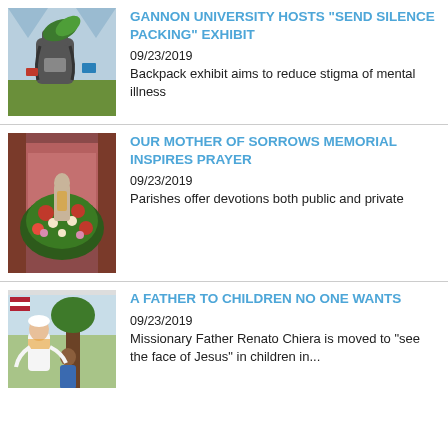[Figure (photo): Photo of a backpack on grass with items around it, related to 'Send Silence Packing' exhibit]
GANNON UNIVERSITY HOSTS "SEND SILENCE PACKING" EXHIBIT
09/23/2019
Backpack exhibit aims to reduce stigma of mental illness
[Figure (photo): Photo of a flower memorial arrangement in front of a statue in a church setting]
OUR MOTHER OF SORROWS MEMORIAL INSPIRES PRAYER
09/23/2019
Parishes offer devotions both public and private
[Figure (photo): Photo of a man (missionary father) with a child near a tree]
A FATHER TO CHILDREN NO ONE WANTS
09/23/2019
Missionary Father Renato Chiera is moved to "see the face of Jesus" in children in...